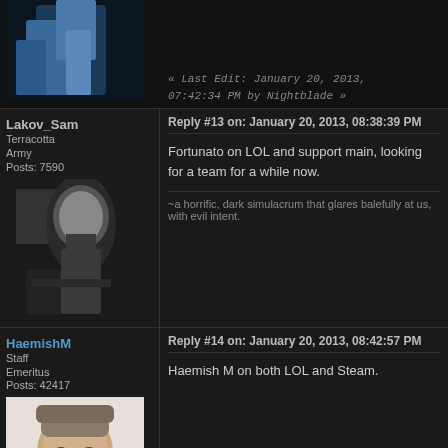« Last Edit: January 20, 2013, 07:42:34 PM by Nightblade »
Lakov_Sam
Terracotta Army
Posts: 7590
Reply #13 on: January 20, 2013, 08:38:39 PM
Fortunato on LOL and support main, looking for a team for a while now.
~a horrific, dark simulacrum that glares balefully at us, with evil intent.
HaemishM
Staff Emeritus
Posts: 42417
Reply #14 on: January 20, 2013, 08:42:57 PM
Haemish M on both LOL and Steam.